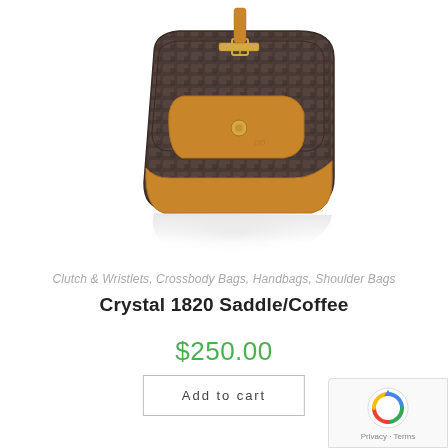[Figure (photo): A brown crocodile-embossed leather handbag with tan/saddle-colored leather bottom panel and gold hardware, shown at an angle on a white background with a soft reflection below.]
Clutch & Wristlets, Crossbody Bags, Handbags, Shoulder Bags
Crystal 1820 Saddle/Coffee
$250.00
Add to cart